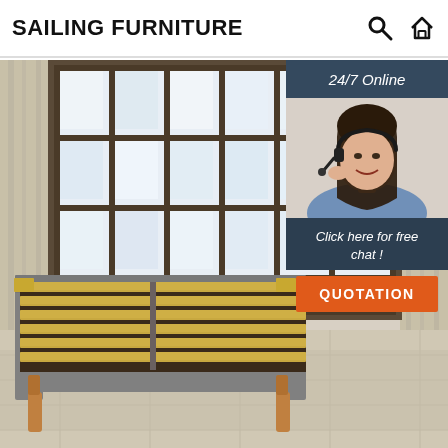SAILING FURNITURE
[Figure (photo): Product photo of a grey upholstered bed frame with wooden slat base and wooden legs, set in a room with large grid-pane windows and curtains]
[Figure (infographic): 24/7 Online chat widget overlay showing a customer service representative with headset, text 'Click here for free chat!' and an orange QUOTATION button]